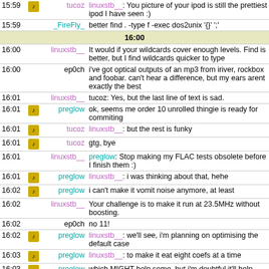| time | icon | nick | message |
| --- | --- | --- | --- |
| 15:59 | [icon] | tucoz | linuxstb__: You picture of your ipod is still the prettiest ipod I have seen :) |
| 15:59 |  | _FireFly_ | better find . -type f -exec dos2unix '{}' ';' |
|  |  | 16:00 |  |
| 16:00 |  | linuxstb__ | It would if your wildcards cover enough levels. Find is better, but I find wildcards quicker to type |
| 16:00 |  | ep0ch | i've got optical outputs of an mp3 from iriver, rockbox and foobar. can't hear a difference, but my ears arent exactly the best |
| 16:01 |  | linuxstb__ | tucoz: Yes, but the last line of text is sad. |
| 16:01 | [icon] | preglow | ok, seems me order 10 unrolled thingie is ready for commiting |
| 16:01 | [icon] | tucoz | linuxstb__: but the rest is funky |
| 16:01 | [icon] | tucoz | gtg, bye |
| 16:01 |  | linuxstb__ | preglow: Stop making my FLAC tests obsolete before I finish them :) |
| 16:01 | [icon] | preglow | linuxstb__: i was thinking about that, hehe |
| 16:02 | [icon] | preglow | i can't make it vomit noise anymore, at least |
| 16:02 |  | linuxstb__ | Your challenge is to make it run at 23.5MHz without boosting. |
| 16:02 |  | ep0ch | no 11! |
| 16:02 | [icon] | preglow | linuxstb__: we'll see, i'm planning on optimising the default case |
| 16:03 | [icon] | preglow | linuxstb__: to make it eat eight coefs at a time |
| 16:03 | [icon] | preglow | which MIGHT help some, but i'm doubtful it'll help that much |
| 16:03 | [icon] | lamed | how do i stop the screen before it throws up the begginging? like when grep --help? |